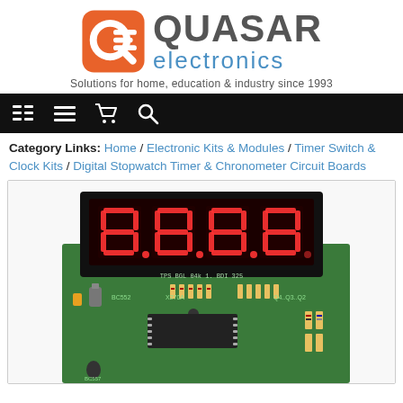[Figure (logo): Quasar Electronics logo with orange QE icon and company name]
Solutions for home, education & industry since 1993
[Figure (other): Navigation bar with menu, list, cart, and search icons on black background]
Category Links: Home / Electronic Kits & Modules / Timer Switch & Clock Kits / Digital Stopwatch Timer & Chronometer Circuit Boards
[Figure (photo): Photo of a digital stopwatch timer circuit board with large 4-digit red LED display showing 00:00, and green PCB with electronic components including IC chip, resistors, and capacitors]